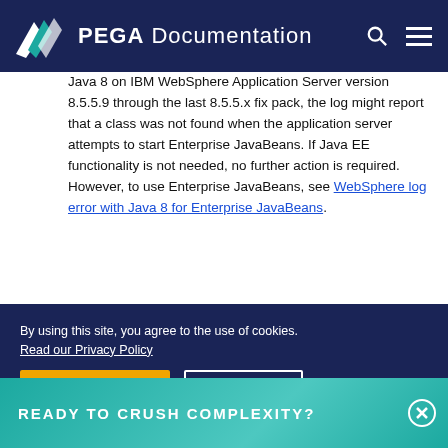PEGA Documentation
Java 8 on IBM WebSphere Application Server version 8.5.5.9 through the last 8.5.5.x fix pack, the log might report that a class was not found when the application server attempts to start Enterprise JavaBeans. If Java EE functionality is not needed, no further action is required. However, to use Enterprise JavaBeans, see WebSphere log error with Java 8 for Enterprise JavaBeans.
By using this site, you agree to the use of cookies. Read our Privacy Policy
Accept and continue   About cookies
READY TO CRUSH COMPLEXITY?